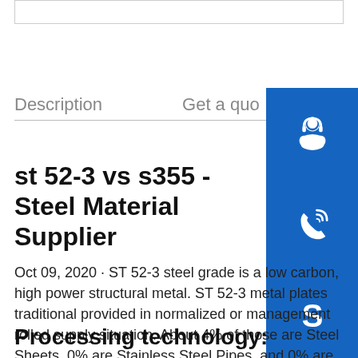Description   Get a quote
st 52-3 vs s355 - Steel Material Supplier
[Figure (infographic): Three blue sidebar buttons: customer service headset icon, phone/call icon, and Skype icon]
Oct 09, 2020 · ST 52-3 steel grade is a low carbon, high power structural metal. ST 52-3 metal plates traditional provided in normalized or management rolled supply situation. About 4% of those are Steel Sheets, 0% are Stainless Steel Pipes, and 0% are Steel Round Bars. A
Processing technology: